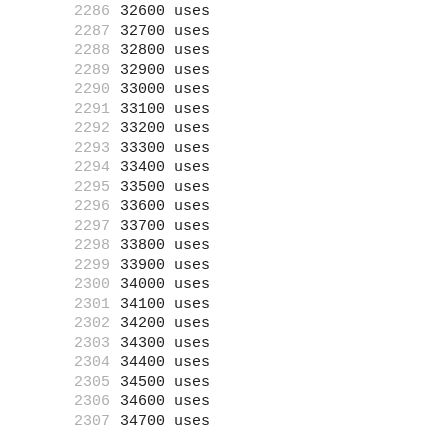2286  32600 uses
2287  32700 uses
2288  32800 uses
2289  32900 uses
2290  33000 uses
2291  33100 uses
2292  33200 uses
2293  33300 uses
2294  33400 uses
2295  33500 uses
2296  33600 uses
2297  33700 uses
2298  33800 uses
2299  33900 uses
2300  34000 uses
2301  34100 uses
2302  34200 uses
2303  34300 uses
2304  34400 uses
2305  34500 uses
2306  34600 uses
2307  34700 uses